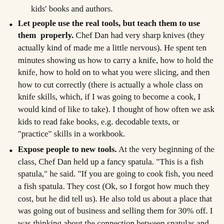kids' books and authors.
Let people use the real tools, but teach them to use them properly. Chef Dan had very sharp knives (they actually kind of made me a little nervous). He spent ten minutes showing us how to carry a knife, how to hold the knife, how to hold on to what you were slicing, and then how to cut correctly (there is actually a whole class on knife skills, which, if I was going to become a cook, I would kind of like to take). I thought of how often we ask kids to read fake books, e.g. decodable texts, or "practice" skills in a workbook.
Expose people to new tools. At the very beginning of the class, Chef Dan held up a fancy spatula. "This is a fish spatula," he said. "If you are going to cook fish, you need a fish spatula. They cost (Ok, so I forgot how much they cost, but he did tell us). He also told us about a place that was going out of business and selling them for 30% off. I was thinking about the connection between spatulas and books. My most important tool, as a teacher of reading, is great books